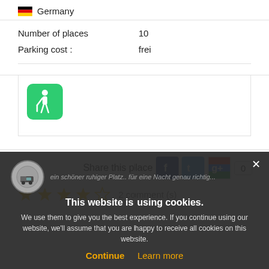Germany
| Number of places | 10 |
| Parking cost : | frei |
[Figure (illustration): Green rounded square icon with white hiking/elderly person with cane silhouette]
Share this place
[Figure (logo): Facebook, Twitter, and Google Plus share buttons with count box showing 0]
[Figure (illustration): 4.5 star rating with outline of 5th star]
2 comment (s)
This website is using cookies.
We use them to give you the best experience. If you continue using our website, we'll assume that you are happy to receive all cookies on this website.
Continue    Learn more